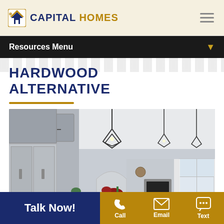[Figure (logo): Capital Homes logo with house icon and company name]
Resources Menu
HARDWOOD ALTERNATIVE
[Figure (photo): Interior kitchen photo showing gray cabinets, stainless steel appliances, geometric pendant lights, and open living area]
Talk Now!
Call
Email
Text